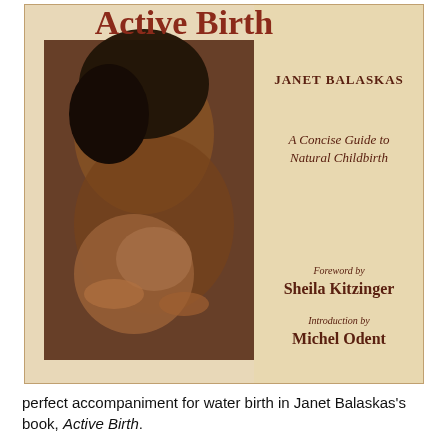[Figure (illustration): Book cover of 'Active Birth' by Janet Balaskas. Subtitle: A Concise Guide to Natural Childbirth. Shows a mother holding a newborn baby. Foreword by Sheila Kitzinger, Introduction by Michel Odent. Beige/cream background on right side with reddish-brown text. Left side has a photograph of mother and newborn.]
perfect accompaniment for water birth in Janet Balaskas's book, Active Birth.